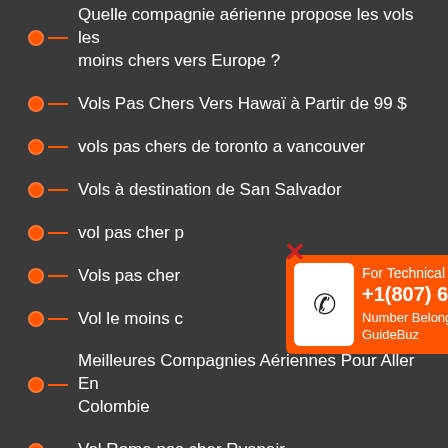Quelle compagnie aérienne propose les vols les moins chers vers Europe ?
Vols Pas Chers Vers Hawaï à Partir de 99 $
vols pas chers de toronto a vancouver
Vols à destination de San Salvador
vol pas cher p...
Vols pas cher...
Vol le moins c...
Meilleures Compagnies Aériennes Pour Aller En Colombie
Vol Rome pas cher Ryanair
Quelle est la compagnie aérienne la moins chère qui propose des vols vers Colombie depuis lInde ?
Vols pas chers vers Rome
[Figure (infographic): Orange popup box with phone icon showing 'For Technical Assist +1(807) 698-0194 Number Belongs To GuideBuz' with a red X close button in top corner]